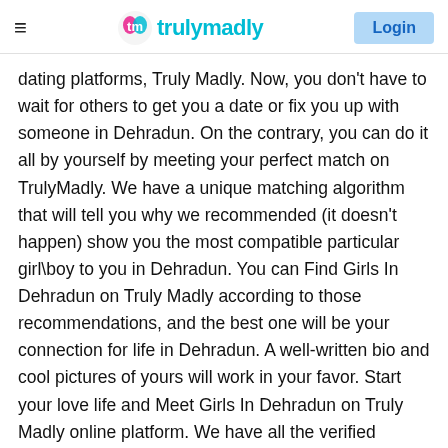trulymadly | Login
dating platforms, Truly Madly. Now, you don't have to wait for others to get you a date or fix you up with someone in Dehradun. On the contrary, you can do it all by yourself by meeting your perfect match on TrulyMadly. We have a unique matching algorithm that will tell you why we recommended (it doesn't happen) show you the most compatible particular girl\boy to you in Dehradun. You can Find Girls In Dehradun on Truly Madly according to those recommendations, and the best one will be your connection for life in Dehradun. A well-written bio and cool pictures of yours will work in your favor. Start your love life and Meet Girls In Dehradun on Truly Madly online platform. We have all the verified accounts on our platform(all accounts are verified